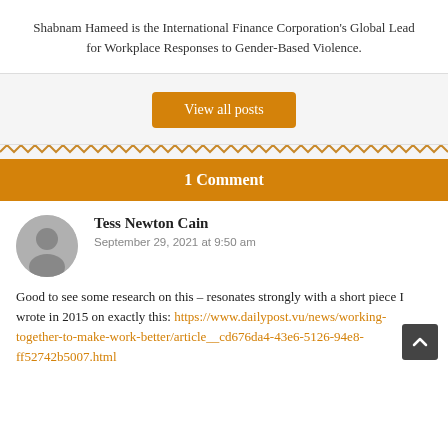Shabnam Hameed is the International Finance Corporation's Global Lead for Workplace Responses to Gender-Based Violence.
View all posts
1 Comment
Tess Newton Cain
September 29, 2021 at 9:50 am
Good to see some research on this – resonates strongly with a short piece I wrote in 2015 on exactly this: https://www.dailypost.vu/news/working-together-to-make-work-better/article__cd676da4-43e6-5126-94e8-ff52742b5007.html